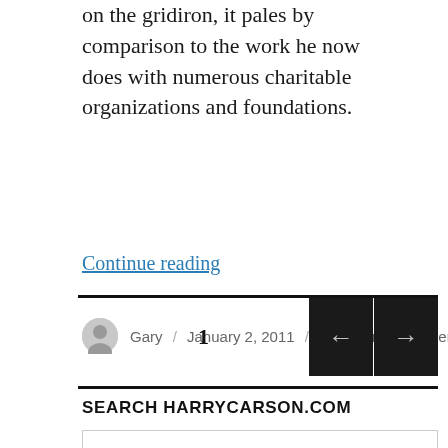on the gridiron, it pales by comparison to the work he now does with numerous charitable organizations and foundations.
Continue reading
Gary / January 2, 2011 / Community Involvement
1
SEARCH HARRYCARSON.COM